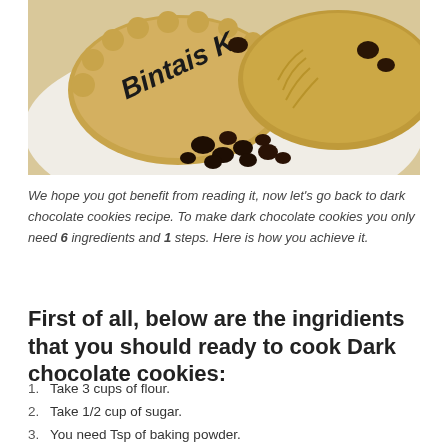[Figure (photo): Cookies on a white plate with raisins, labeled Bintais K]
We hope you got benefit from reading it, now let's go back to dark chocolate cookies recipe. To make dark chocolate cookies you only need 6 ingredients and 1 steps. Here is how you achieve it.
First of all, below are the ingridients that you should ready to cook Dark chocolate cookies:
Take 3 cups of flour.
Take 1/2 cup of sugar.
You need Tsp of baking powder.
You need 1 cup of milk.